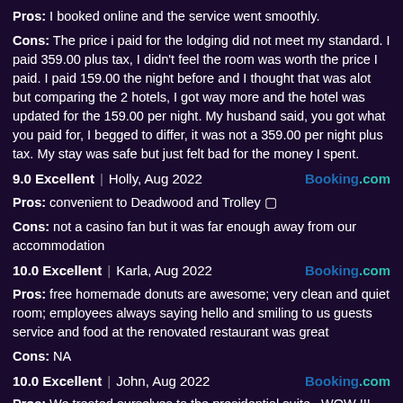Pros: I booked online and the service went smoothly.
Cons: The price i paid for the lodging did not meet my standard. I paid 359.00 plus tax, I didn't feel the room was worth the price I paid. I paid 159.00 the night before and I thought that was alot but comparing the 2 hotels, I got way more and the hotel was updated for the 159.00 per night. My husband said, you got what you paid for, I begged to differ, it was not a 359.00 per night plus tax. My stay was safe but just felt bad for the money I spent.
9.0 Excellent | Holly, Aug 2022    Booking.com
Pros: convenient to Deadwood and Trolley
Cons: not a casino fan but it was far enough away from our accommodation
10.0 Excellent | Karla, Aug 2022    Booking.com
Pros: free homemade donuts are awesome; very clean and quiet room; employees always saying hello and smiling to us guests service and food at the renovated restaurant was great
Cons: NA
10.0 Excellent | John, Aug 2022    Booking.com
Pros: We treated ourselves to the presidential suite , WOW !!!